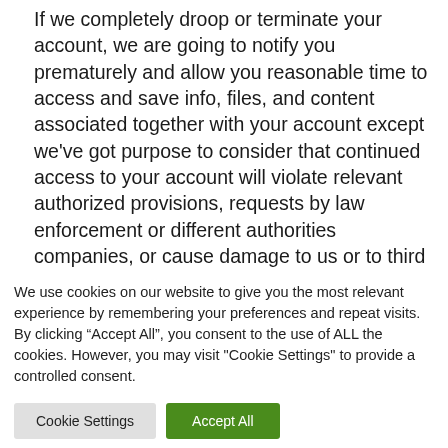If we completely droop or terminate your account, we are going to notify you prematurely and allow you reasonable time to access and save info, files, and content associated together with your account except we've got purpose to consider that continued access to your account will violate relevant authorized provisions, requests by law enforcement or different authorities companies, or cause damage to us or to third parties.
We use cookies on our website to give you the most relevant experience by remembering your preferences and repeat visits. By clicking "Accept All", you consent to the use of ALL the cookies. However, you may visit "Cookie Settings" to provide a controlled consent.